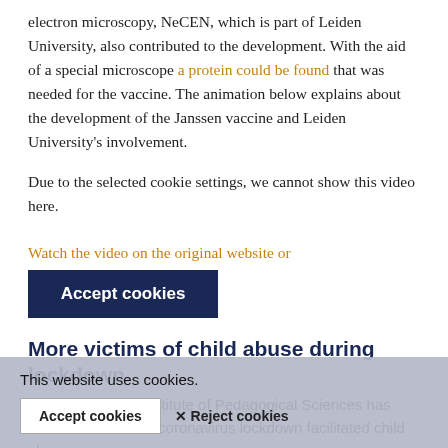electron microscopy, NeCEN, which is part of Leiden University, also contributed to the development. With the aid of a special microscope a protein could be found that was needed for the vaccine. The animation below explains about the development of the Janssen vaccine and Leiden University's involvement.
Due to the selected cookie settings, we cannot show this video here.
Watch the video on the original website or
Accept cookies
More victims of child abuse during lockdown
Research by the Institute of Pedagogical Sciences has shown that the first coronavirus lockdown facilitated child abuse.
The loneliness of children increased in particular during the lockdown. Girls were more often the victim of neglect. Many children who had not previously witnessed domestic abuse more systematically became the victim as well...
This website uses cookies.
Accept cookies
✕ Reject cookies